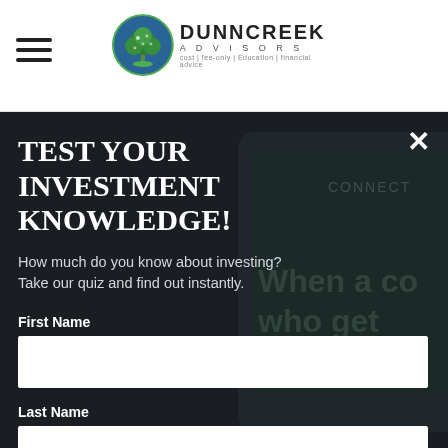[Figure (logo): Dunncreek Advisors logo with tree icon and tagline: cost-only, Education, Financial Advice]
TEST YOUR INVESTMENT KNOWLEDGE!
How much do you know about investing? Take our quiz and find out instantly.
First Name
Last Name